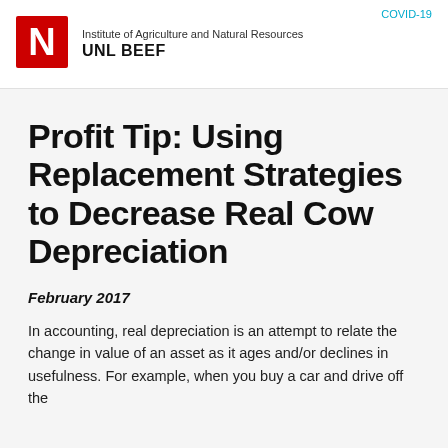COVID-19
[Figure (logo): University of Nebraska red block N logo with Institute of Agriculture and Natural Resources / UNL BEEF text]
Profit Tip: Using Replacement Strategies to Decrease Real Cow Depreciation
February 2017
In accounting, real depreciation is an attempt to relate the change in value of an asset as it ages and/or declines in usefulness. For example, when you buy a car and drive off the